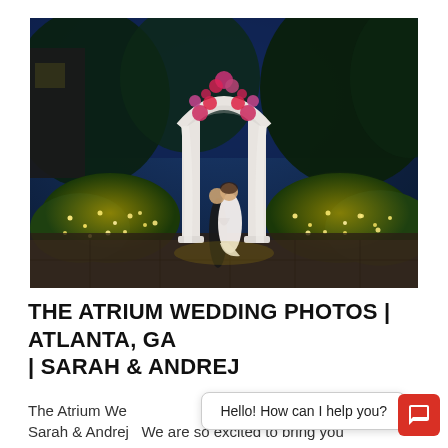[Figure (photo): Nighttime wedding photo of a couple standing under a white floral gazebo/arbor surrounded by illuminated bushes with fairy lights and lush green trees in the background. Dark blue evening sky. Stone paved ground.]
THE ATRIUM WEDDING PHOTOS | ATLANTA, GA | SARAH & ANDREJ
The Atrium We... | Sarah & Andrej  We are so excited to bring you
Hello! How can I help you?